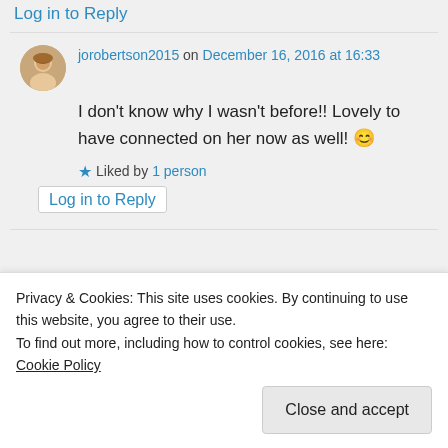Log in to Reply
jorobertson2015 on December 16, 2016 at 16:33
I don't know why I wasn't before!! Lovely to have connected on her now as well! 😊
★ Liked by 1 person
Log in to Reply
Privacy & Cookies: This site uses cookies. By continuing to use this website, you agree to their use.
To find out more, including how to control cookies, see here: Cookie Policy
Close and accept